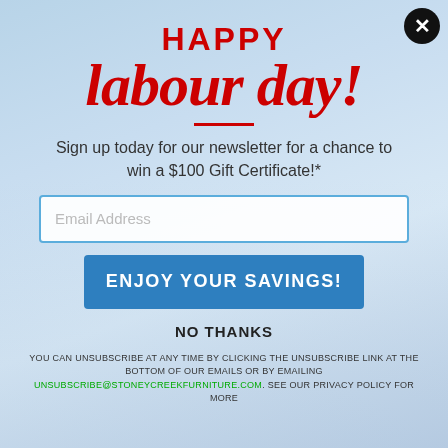HAPPY labour day!
Sign up today for our newsletter for a chance to win a $100 Gift Certificate!*
Email Address
ENJOY YOUR SAVINGS!
NO THANKS
YOU CAN UNSUBSCRIBE AT ANY TIME BY CLICKING THE UNSUBSCRIBE LINK AT THE BOTTOM OF OUR EMAILS OR BY EMAILING UNSUBSCRIBE@STONEYCREEKFURNITURE.COM. SEE OUR PRIVACY POLICY FOR MORE